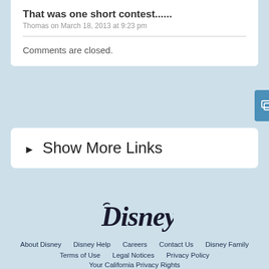That was one short contest......
Thomas on March 18, 2013 at 9:23 pm
Comments are closed.
► Show More Links
[Figure (logo): Disney logo in cursive black script]
About Disney  Disney Help  Careers  Contact Us  Disney Family  Terms of Use  Legal Notices  Privacy Policy  Your California Privacy Rights  Children's Online Privacy Policy  Interest-Based Ads  Do Not Sell My Personal Information  © Disney, All Rights Reserved